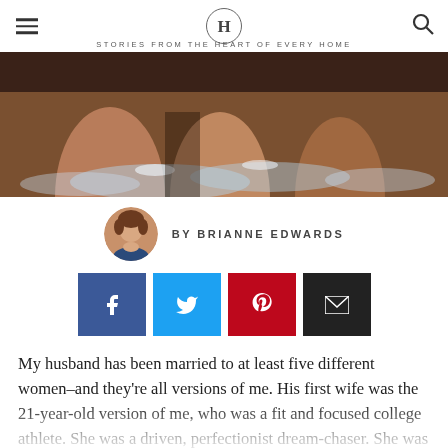H | STORIES FROM THE HEART OF EVERY HOME
[Figure (photo): Close-up of runners' legs splashing through water during a race]
BY BRIANNE EDWARDS
[Figure (infographic): Social sharing buttons: Facebook (blue), Twitter (light blue), Pinterest (red), Email (black)]
My husband has been married to at least five different women–and they're all versions of me. His first wife was the 21-year-old version of me, who was a fit and focused college athlete. She was a driven, perfectionist dream-chaser. She was ready to push and sacrifice to chase the dream. No challenge was too hard–but then again, the